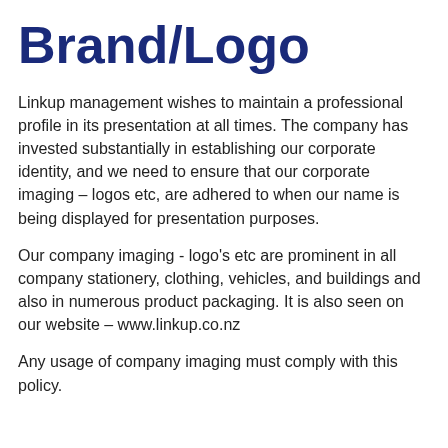Brand/Logo
Linkup management wishes to maintain a professional profile in its presentation at all times. The company has invested substantially in establishing our corporate identity, and we need to ensure that our corporate imaging – logos etc, are adhered to when our name is being displayed for presentation purposes.
Our company imaging - logo's etc are prominent in all company stationery, clothing, vehicles, and buildings and also in numerous product packaging. It is also seen on our website – www.linkup.co.nz
Any usage of company imaging must comply with this policy.